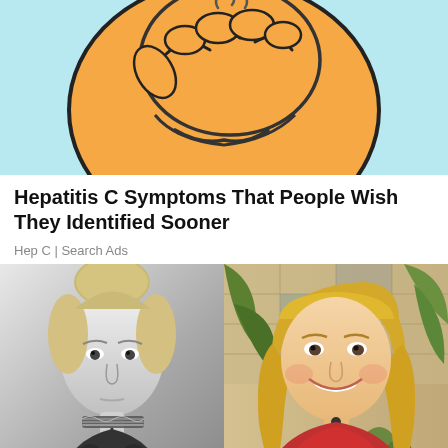[Figure (illustration): Cartoon illustration of a liver or body organ with a face, light blue background, orange character with dark outline markings]
Hepatitis C Symptoms That People Wish They Identified Sooner
Hep C | Search Ads
[Figure (photo): Black and white photo of a young blonde woman with hair up, wearing a decorative choker necklace, serious expression]
[Figure (photo): Color photo of a smiling blonde woman in a red dress, sitting with hands clasped over knees, green plants and tiled wall in background]